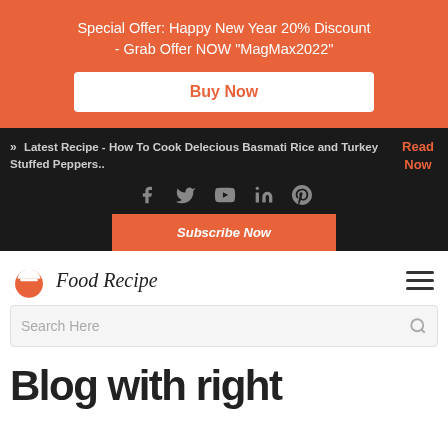Special Offer: Happy New Year 20% Discount - Grab Offer NOW "MagMax2022"
Buy Now
» Latest Recipe - How To Cook Delecious Basmati Rice and Turkey Stuffed Peppers..
Read Now
[Figure (infographic): Social media icons: Facebook, Twitter, YouTube, LinkedIn, Pinterest]
Subscribe Now
[Figure (logo): Food Recipe logo with chef hat icon and italic text 'Food Recipe']
Search Here
Blog with right